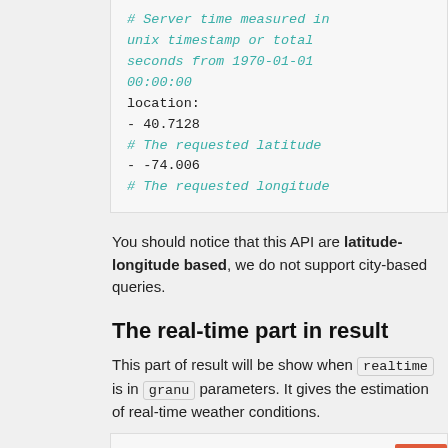# Server time measured in unix timestamp or total seconds from 1970-01-01 00:00:00
location:
- 40.7128
# The requested latitude
- -74.006
# The requested longitude
You should notice that this API are latitude-longitude based, we do not support city-based queries.
The real-time part in result
This part of result will be show when realtime is in granu parameters. It gives the estimation of real-time weather conditions.
result:
  realtime: